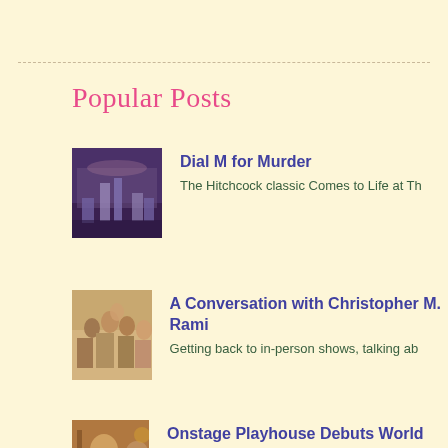Popular Posts
Dial M for Murder — The Hitchcock classic Comes to Life at Th...
A Conversation with Christopher M. Rami... — Getting back to in-person shows, talking ab...
Onstage Playhouse Debuts World premiere... — A Well Written Piece with Aesthetic Detail...